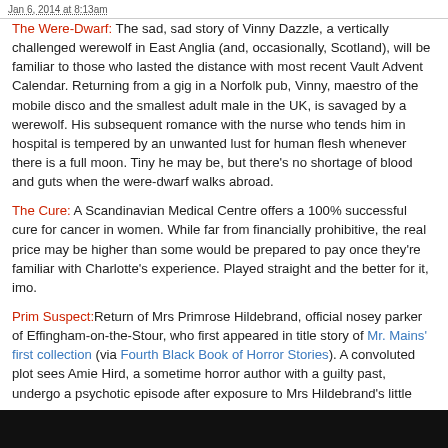Jan 6, 2014 at 8:13am
The Were-Dwarf: The sad, sad story of Vinny Dazzle, a vertically challenged werewolf in East Anglia (and, occasionally, Scotland), will be familiar to those who lasted the distance with most recent Vault Advent Calendar. Returning from a gig in a Norfolk pub, Vinny, maestro of the mobile disco and the smallest adult male in the UK, is savaged by a werewolf. His subsequent romance with the nurse who tends him in hospital is tempered by an unwanted lust for human flesh whenever there is a full moon. Tiny he may be, but there's no shortage of blood and guts when the were-dwarf walks abroad.
The Cure: A Scandinavian Medical Centre offers a 100% successful cure for cancer in women. While far from financially prohibitive, the real price may be higher than some would be prepared to pay once they're familiar with Charlotte's experience. Played straight and the better for it, imo.
Prim Suspect: Return of Mrs Primrose Hildebrand, official nosey parker of Effingham-on-the-Stour, who first appeared in title story of Mr. Mains' first collection (via Fourth Black Book of Horror Stories). A convoluted plot sees Amie Hird, a sometime horror author with a guilty past, undergo a psychotic episode after exposure to Mrs Hildebrand's little black book, listing the various transgressions of each member of the community. Frank, a character in Amie's latest story, urges his creator to murder the twisted old bag. Several references to a 'Dr. Probe,' kindly dispenser of pills which should most certainly not be taken with alcohol.